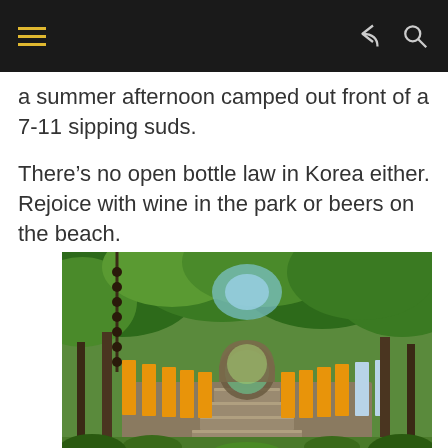[Navigation bar with hamburger menu, share icon, and search icon]
a summer afternoon camped out front of a 7-11 sipping suds.
There’s no open bottle law in Korea either. Rejoice with wine in the park or beers on the beach.
[Figure (photo): A scenic Korean temple pathway with stone steps leading through a circular moon gate archway. Orange and light blue fabric banners or flags line both sides of the stone stairway, and lush green trees form a canopy overhead.]